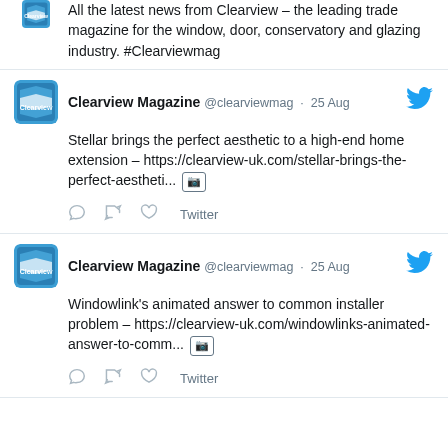All the latest news from Clearview – the leading trade magazine for the window, door, conservatory and glazing industry. #Clearviewmag
Clearview Magazine @clearviewmag · 25 Aug
Stellar brings the perfect aesthetic to a high-end home extension – https://clearview-uk.com/stellar-brings-the-perfect-aestheti... [image]
Twitter
Clearview Magazine @clearviewmag · 25 Aug
Windowlink's animated answer to common installer problem – https://clearview-uk.com/windowlinks-animated-answer-to-comm... [image]
Twitter